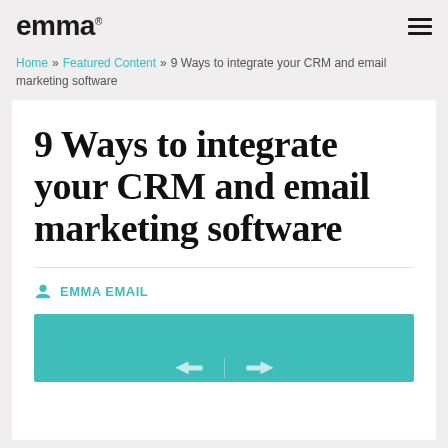emma
Home » Featured Content » 9 Ways to integrate your CRM and email marketing software
9 Ways to integrate your CRM and email marketing software
EMMA EMAIL
[Figure (illustration): Teal/turquoise colored image with arrow icons at the bottom, partially visible]